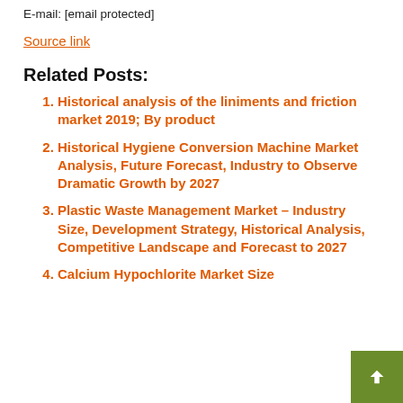E-mail: [email protected]
Source link
Related Posts:
Historical analysis of the liniments and friction market 2019; By product
Historical Hygiene Conversion Machine Market Analysis, Future Forecast, Industry to Observe Dramatic Growth by 2027
Plastic Waste Management Market – Industry Size, Development Strategy, Historical Analysis, Competitive Landscape and Forecast to 2027
Calcium Hypochlorite Market Size